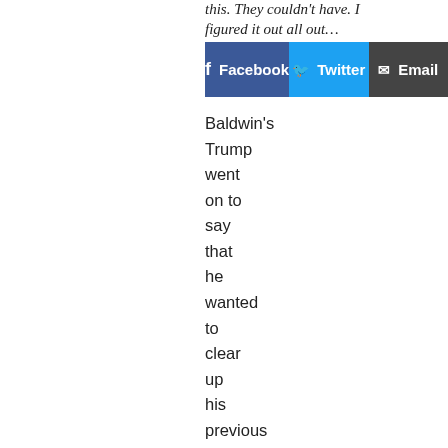this. They couldn't have. I figured it out all out…
[Figure (infographic): Social share buttons: Facebook (blue), Twitter (cyan), Email (dark gray)]
Baldwin's Trump went on to say that he wanted to clear up his previous controversial comments about the hate and violence in Charlottesville.
“There was a tragic victim that came out of Charlottesville: Me!” Trump tells the happy crowd. “I wanted to set the record straight about exactly what I said and I have the transcript right here.”
He then pulls out a piece of paper and starts reading, “I moved on her like a bitch, but I couldn’t get there…,” stopping when he suddenly realizes he